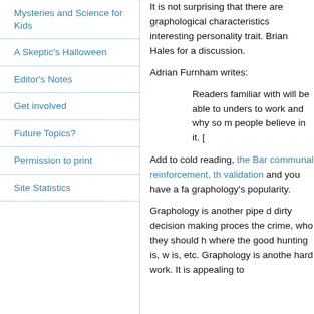Mysteries and Science for Kids
A Skeptic's Halloween
Editor's Notes
Get involved
Future Topics?
Permission to print
Site Statistics
It is not surprising that there are graphological characteristics interesting personality trait. Brian Hales for a discussion.
Adrian Furnham writes:
Readers familiar with will be able to understand to work and why so many people believe in it. [
Add to cold reading, the Barnum effect, communal reinforcement, the fallacy of validation and you have a fair account of graphology's popularity.
Graphology is another pipe dream for dirty decision making processes—who did the crime, who they should hire, where the good hunting is, where the gold is, etc. Graphology is another way to avoid hard work. It is appealing to